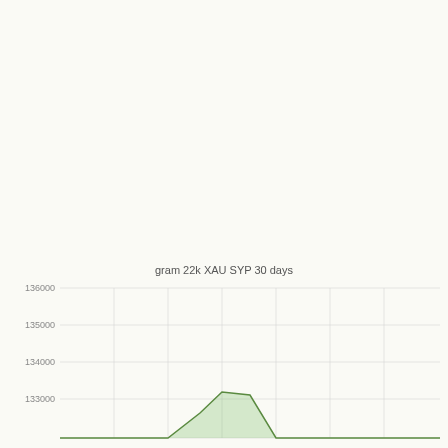[Figure (area-chart): Area chart showing gram 22k XAU SYP price over 30 days. Y-axis ranges from ~133000 to 136000. A peak appears around the middle of the time range reaching approximately 133200.]